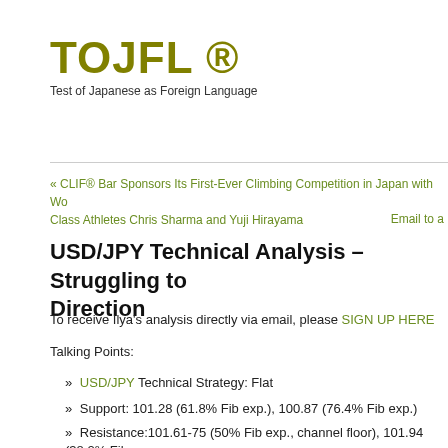TOJFL ®
Test of Japanese as Foreign Language
« CLIF® Bar Sponsors Its First-Ever Climbing Competition in Japan with World-Class Athletes Chris Sharma and Yuji Hirayama
Email to a
USD/JPY Technical Analysis – Struggling to Direction
To receive Ilya's analysis directly via email, please SIGN UP HERE
Talking Points:
» USD/JPY Technical Strategy: Flat
» Support: 101.28 (61.8% Fib exp.), 100.87 (76.4% Fib exp.)
» Resistance:101.61-75 (50% Fib exp., channel floor), 101.94 (38.2% Fib e
The US Dollar is at risk of deeper losses against the Japanese Yen aft